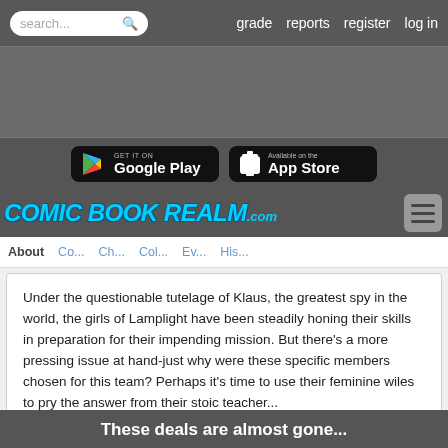search... grade reports register log in
[Figure (logo): Comic Book Realm .com logo with Google Play and App Store download buttons]
About Co... Ch... Col... Ev... His...
Under the questionable tutelage of Klaus, the greatest spy in the world, the girls of Lamplight have been steadily honing their skills in preparation for their impending mission. But there's a more pressing issue at hand-just why were these specific members chosen for this team? Perhaps it's time to use their feminine wiles to pry the answer from their stoic teacher...
These deals are almost gone...